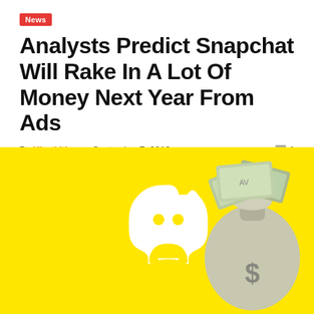News
Analysts Predict Snapchat Will Rake In A Lot Of Money Next Year From Ads
By Kiruti Itimu - September 7, 2016   0
[Figure (illustration): Yellow background with Snapchat ghost logo outline and a money bag filled with cash bills featuring a dollar sign, representing Snapchat's advertising revenue.]